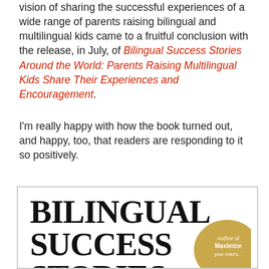vision of sharing the successful experiences of a wide range of parents raising bilingual and multilingual kids came to a fruitful conclusion with the release, in July, of Bilingual Success Stories Around the World: Parents Raising Multilingual Kids Share Their Experiences and Encouragement.
I'm really happy with how the book turned out, and happy, too, that readers are responding to it so positively.
[Figure (illustration): Book cover showing 'BILINGUAL SUCCESS STORIES' in large bold serif font on white background, with a gold Author badge partially visible in bottom right reading 'Author of Maximize...']